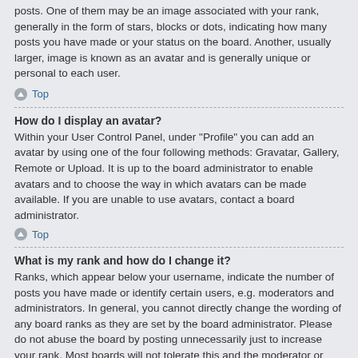posts. One of them may be an image associated with your rank, generally in the form of stars, blocks or dots, indicating how many posts you have made or your status on the board. Another, usually larger, image is known as an avatar and is generally unique or personal to each user.
Top
How do I display an avatar?
Within your User Control Panel, under "Profile" you can add an avatar by using one of the four following methods: Gravatar, Gallery, Remote or Upload. It is up to the board administrator to enable avatars and to choose the way in which avatars can be made available. If you are unable to use avatars, contact a board administrator.
Top
What is my rank and how do I change it?
Ranks, which appear below your username, indicate the number of posts you have made or identify certain users, e.g. moderators and administrators. In general, you cannot directly change the wording of any board ranks as they are set by the board administrator. Please do not abuse the board by posting unnecessarily just to increase your rank. Most boards will not tolerate this and the moderator or administrator will simply lower your post count.
Top